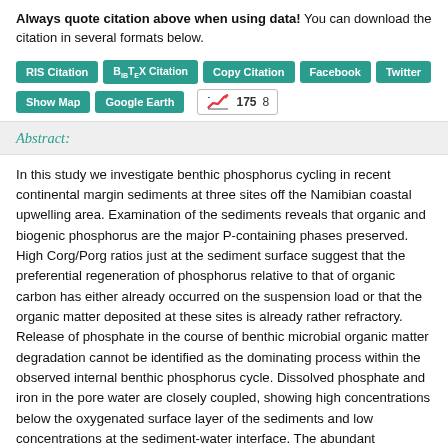Always quote citation above when using data! You can download the citation in several formats below.
[Figure (other): Row of teal buttons: RIS Citation, BibTeX Citation, Copy Citation, Facebook, Twitter, Show Map, Google Earth, and a metrics badge showing a chart icon with 175 and 8]
Abstract:
In this study we investigate benthic phosphorus cycling in recent continental margin sediments at three sites off the Namibian coastal upwelling area. Examination of the sediments reveals that organic and biogenic phosphorus are the major P-containing phases preserved. High Corg/Porg ratios just at the sediment surface suggest that the preferential regeneration of phosphorus relative to that of organic carbon has either already occurred on the suspension load or that the organic matter deposited at these sites is already rather refractory. Release of phosphate in the course of benthic microbial organic matter degradation cannot be identified as the dominating process within the observed internal benthic phosphorus cycle. Dissolved phosphate and iron in the pore water are closely coupled, showing high concentrations below the oxygenated surface layer of the sediments and low concentrations at the sediment-water interface. The abundant